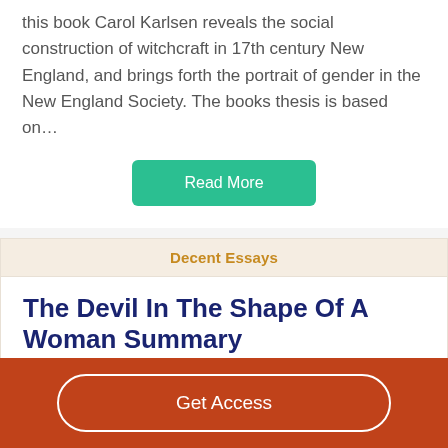this book Carol Karlsen reveals the social construction of witchcraft in 17th century New England, and brings forth the portrait of gender in the New England Society. The books thesis is based on…
Read More
Decent Essays
The Devil In The Shape Of A Woman Summary
615 Words
3 Pages
Get Access